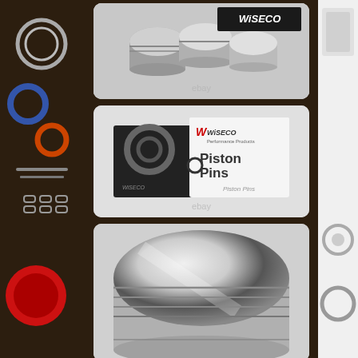[Figure (photo): Left side strip showing auto parts including gaskets, seals, bearings, chains, and a red circular component on dark brown background]
[Figure (photo): Product photo of Wiseco brand pistons with Wiseco logo text, multiple shiny forged pistons shown on eBay listing]
[Figure (photo): Product photo of Wiseco Piston Pins box packaging, showing black and white box with piston ring graphic and eBay watermark]
[Figure (photo): Close-up photo of a single large polished/forged aluminum piston showing flat top with machined grooves, highly reflective silver surface]
[Figure (photo): Right side partial strip showing auto parts components on white/grey background]